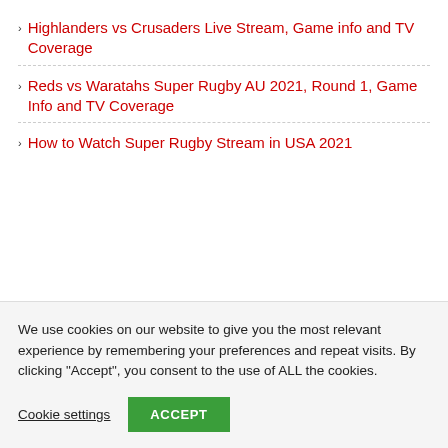Highlanders vs Crusaders Live Stream, Game info and TV Coverage
Reds vs Waratahs Super Rugby AU 2021, Round 1, Game Info and TV Coverage
How to Watch Super Rugby Stream in USA 2021
We use cookies on our website to give you the most relevant experience by remembering your preferences and repeat visits. By clicking "Accept", you consent to the use of ALL the cookies.
Cookie settings   ACCEPT